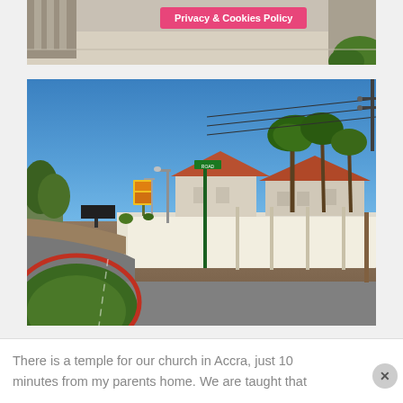[Figure (photo): Partial view of a building exterior with a pink 'Privacy & Cookies Policy' banner overlay, and green vegetation on the right side.]
[Figure (photo): Street-level photo in Accra, Ghana showing a road with a roundabout, white perimeter wall of a compound, houses with red/brown roofs visible behind the wall, palm trees, green street sign poles, yellow signboard, street lights, and overhead power lines against a clear blue sky.]
There is a temple for our church in Accra, just 10 minutes from my parents home. We are taught that